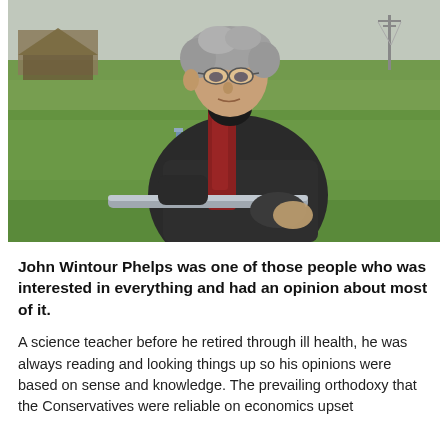[Figure (photo): Outdoor photograph of an older man with disheveled grey hair, wearing glasses, a dark jacket, and a red scarf, sitting on a metal fence or gate in a green rural field. A thatched building and electricity pylons are visible in the background.]
John Wintour Phelps was one of those people who was interested in everything and had an opinion about most of it.
A science teacher before he retired through ill health, he was always reading and looking things up so his opinions were based on sense and knowledge. The prevailing orthodoxy that the Conservatives were reliable on economics upset